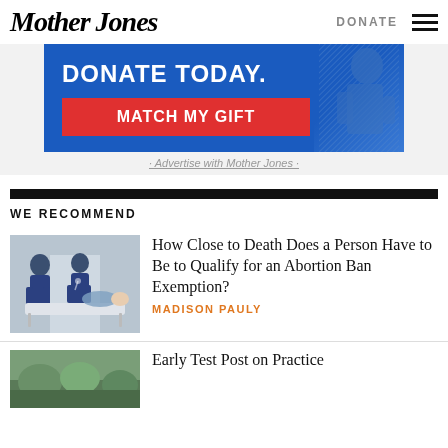Mother Jones | DONATE
[Figure (photo): Mother Jones donation advertisement banner with blue background, 'DONATE TODAY.' text, red 'MATCH MY GIFT' button, and a stylized figure on the right]
Advertise with Mother Jones
WE RECOMMEND
[Figure (photo): Medical workers in blue scrubs pushing a patient on a gurney in a hospital hallway]
How Close to Death Does a Person Have to Be to Qualify for an Abortion Ban Exemption?
MADISON PAULY
[Figure (photo): Outdoor scene with trees, partially visible]
Early Test Post on Practice